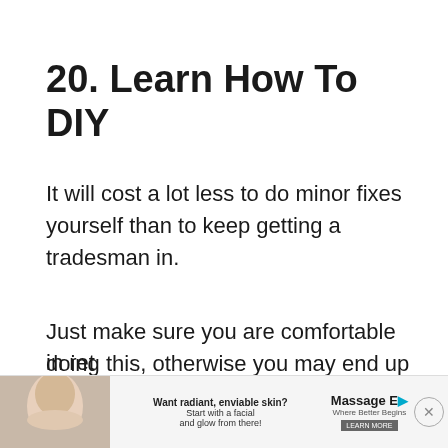20. Learn How To DIY
It will cost a lot less to do minor fixes yourself than to keep getting a tradesman in.
Just make sure you are comfortable doing this, otherwise you may end up paying more if it goes wrong – you could look at asking someone else to do it and swap a skill so you do something for them in ret…
[Figure (infographic): Advertisement banner at bottom of page: 'Want radiant, enviable skin? Start with a facial and glow from there!' with Massage Envy branding, partial face image, and a close button.]